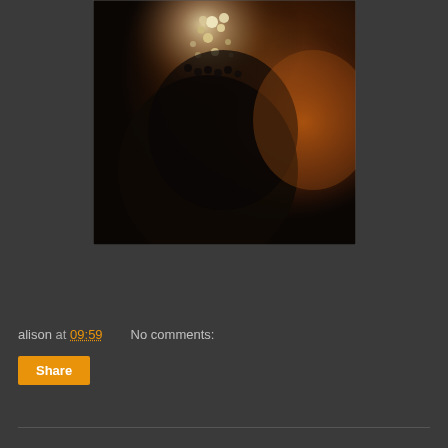[Figure (photo): Dark, moody close-up photograph of what appears to be a decorative jeweled or beaded object with sparkly embellishments, shot in low light with warm orange tones in the background.]
alison at 09:59    No comments:
Share